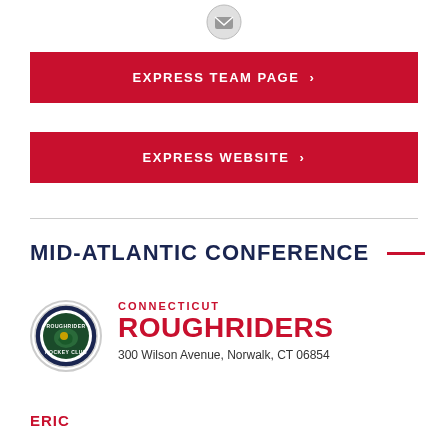[Figure (logo): Small circular icon with envelope/message symbol at top of page]
EXPRESS TEAM PAGE ›
EXPRESS WEBSITE ›
MID-ATLANTIC CONFERENCE
[Figure (logo): Connecticut Roughriders circular team logo with hockey player graphic]
CONNECTICUT ROUGHRIDERS
300 Wilson Avenue, Norwalk, CT 06854
ERIC